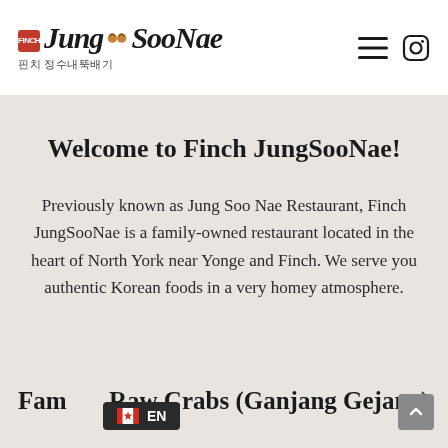JungSooNae — Finch JungSooNae restaurant website header with logo and navigation icons
Welcome to Finch JungSooNae!
Previously known as Jung Soo Nae Restaurant, Finch JungSooNae is a family-owned restaurant located in the heart of North York near Yonge and Finch. We serve you authentic Korean foods in a very homey atmosphere.
Famous Raw Crabs (Ganjang Gejang)